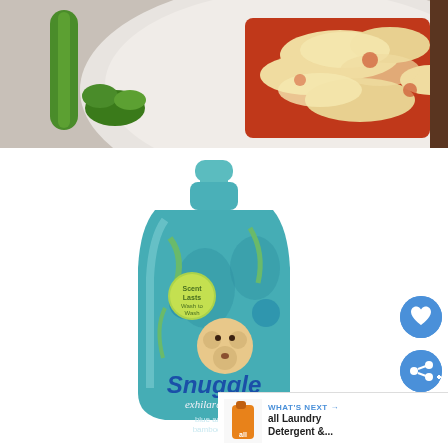[Figure (photo): Top-down view of a slice of lasagna or pizza with melted cheese and tomato sauce on a white plate, with green herbs and a vegetable visible on the side]
[Figure (photo): Snuggle Exhilarations fabric softener bottle in blue, featuring a teddy bear graphic, 'Scent Lasts Wash to Wash' badge, and 'blue aria & bamboo silk' scent label]
[Figure (illustration): Heart icon button (blue circle with white heart) for saving/liking]
[Figure (illustration): Share icon button (blue circle with white share/plus icon)]
[Figure (photo): What's Next thumbnail showing all laundry detergent bottle]
WHAT'S NEXT → all Laundry Detergent &...